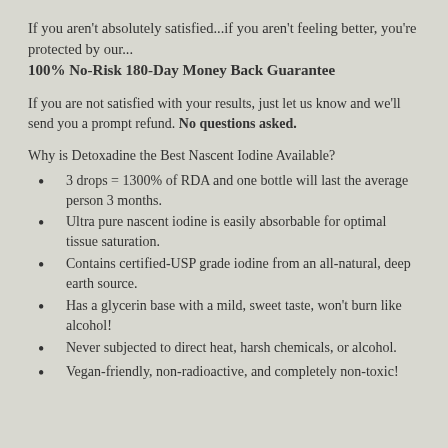If you aren't absolutely satisfied...if you aren't feeling better, you're protected by our...
100% No-Risk 180-Day Money Back Guarantee
If you are not satisfied with your results, just let us know and we'll send you a prompt refund. No questions asked.
Why is Detoxadine the Best Nascent Iodine Available?
3 drops = 1300% of RDA and one bottle will last the average person 3 months.
Ultra pure nascent iodine is easily absorbable for optimal tissue saturation.
Contains certified-USP grade iodine from an all-natural, deep earth source.
Has a glycerin base with a mild, sweet taste, won't burn like alcohol!
Never subjected to direct heat, harsh chemicals, or alcohol.
Vegan-friendly, non-radioactive, and completely non-toxic!